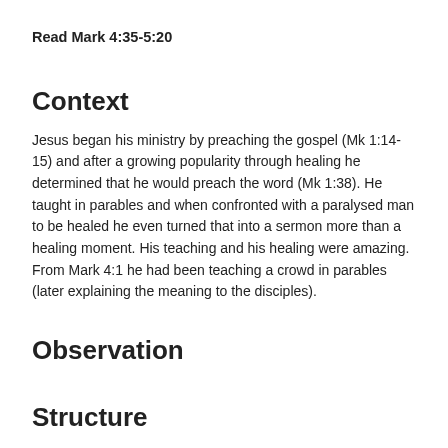Read Mark 4:35-5:20
Context
Jesus began his ministry by preaching the gospel (Mk 1:14-15) and after a growing popularity through healing he determined that he would preach the word (Mk 1:38). He taught in parables and when confronted with a paralysed man to be healed he even turned that into a sermon more than a healing moment. His teaching and his healing were amazing. From Mark 4:1 he had been teaching a crowd in parables (later explaining the meaning to the disciples).
Observation
Structure